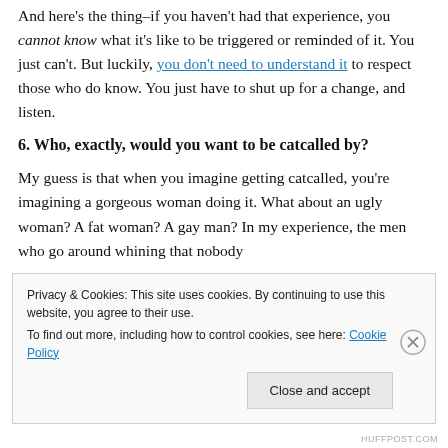And here's the thing–if you haven't had that experience, you cannot know what it's like to be triggered or reminded of it. You just can't. But luckily, you don't need to understand it to respect those who do know. You just have to shut up for a change, and listen.
6. Who, exactly, would you want to be catcalled by?
My guess is that when you imagine getting catcalled, you're imagining a gorgeous woman doing it. What about an ugly woman? A fat woman? A gay man? In my experience, the men who go around whining that nobody
Privacy & Cookies: This site uses cookies. By continuing to use this website, you agree to their use.
To find out more, including how to control cookies, see here: Cookie Policy
HUFFPOST.COM